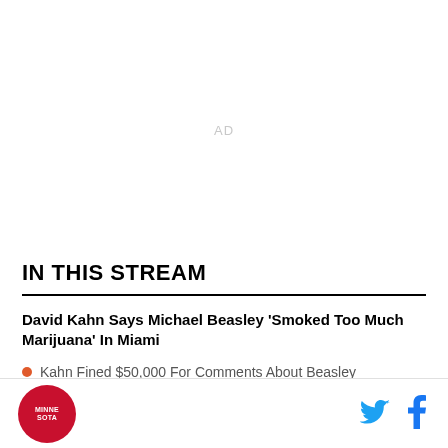[Figure (other): Advertisement placeholder area with 'AD' label in light gray]
IN THIS STREAM
David Kahn Says Michael Beasley 'Smoked Too Much Marijuana' In Miami
Kahn Fined $50,000 For Comments About Beasley
[Figure (logo): Minnesota sports team circular logo in red, bottom left]
[Figure (other): Twitter and Facebook social share icons, bottom right]